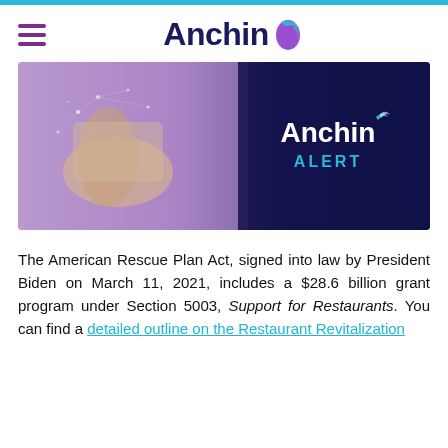[Figure (logo): Anchin logo with hamburger menu icon in top header area]
[Figure (photo): Anchin Alert banner image showing hands using a tablet device with purple/dark blue overlay and 'Anchin ALERT' text on the right side]
The American Rescue Plan Act, signed into law by President Biden on March 11, 2021, includes a $28.6 billion grant program under Section 5003, Support for Restaurants. You can find a detailed outline on the Restaurant Revitalization